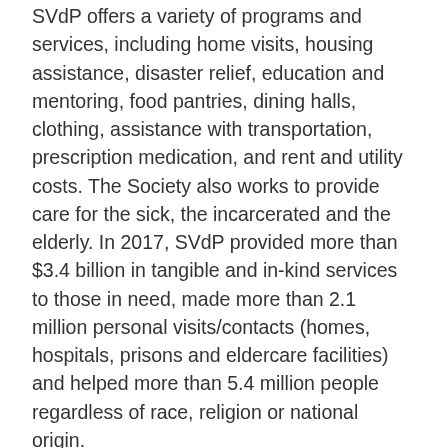SVdP offers a variety of programs and services, including home visits, housing assistance, disaster relief, education and mentoring, food pantries, dining halls, clothing, assistance with transportation, prescription medication, and rent and utility costs. The Society also works to provide care for the sick, the incarcerated and the elderly. In 2017, SVdP provided more than $3.4 billion in tangible and in-kind services to those in need, made more than 2.1 million personal visits/contacts (homes, hospitals, prisons and eldercare facilities) and helped more than 5.4 million people regardless of race, religion or national origin.
To find out more on how SVDP Fond du Lac is helping people in need, visit: https://svdpfdlc.org/community-services/
To help join the fight against poverty in the Fond du